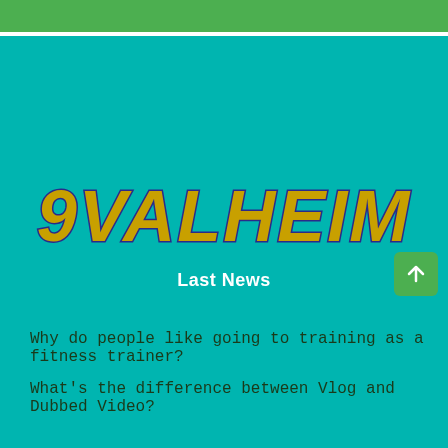[Figure (logo): Green horizontal bar at top of page]
9VALHEIM
Last News
Why do people like going to training as a fitness trainer?
What's the difference between Vlog and Dubbed Video?